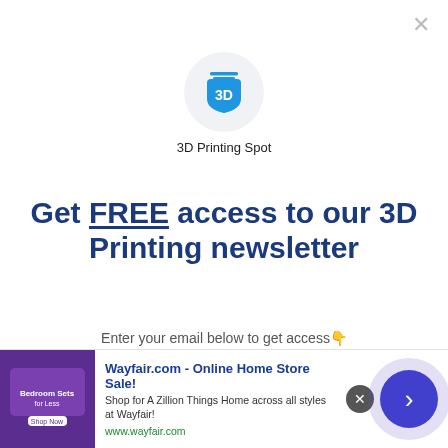[Figure (logo): 3D Printing Spot logo: blue 3D printer shield icon in a light gray circle]
3D Printing Spot
Get FREE access to our 3D Printing newsletter
Enter your email below to get access👇
your@email.com
[Figure (screenshot): Wayfair.com advertisement banner at bottom: 'Wayfair.com - Online Home Store Sale! Shop for A Zillion Things Home across all styles at Wayfair! www.wayfair.com']